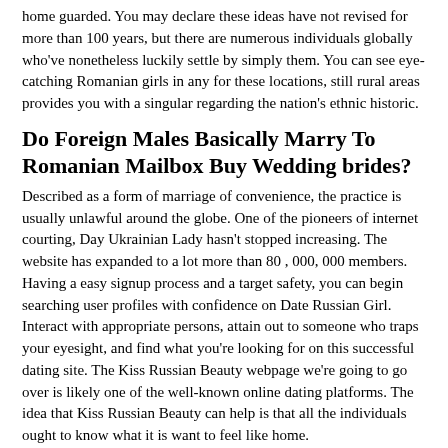home guarded. You may declare these ideas have not revised for more than 100 years, but there are numerous individuals globally who've nonetheless luckily settle by simply them. You can see eye-catching Romanian girls in any for these locations, still rural areas provides you with a singular regarding the nation's ethnic historic.
Do Foreign Males Basically Marry To Romanian Mailbox Buy Wedding brides?
Described as a form of marriage of convenience, the practice is usually unlawful around the globe. One of the pioneers of internet courting, Day Ukrainian Lady hasn't stopped increasing. The website has expanded to a lot more than 80 , 000, 000 members. Having a easy signup process and a target safety, you can begin searching user profiles with confidence on Date Russian Girl. Interact with appropriate persons, attain out to someone who traps your eyesight, and find what you're looking for on this successful dating site. The Kiss Russian Beauty webpage we're going to go over is likely one of the well-known online dating platforms. The idea that Kiss Russian Beauty can help is that all the individuals ought to know what it is want to feel like home.
Right here it is; irrespective of how properly-behaved and family-oriented Romanian women are, concerns won't job automatically and have no obligation to work out.